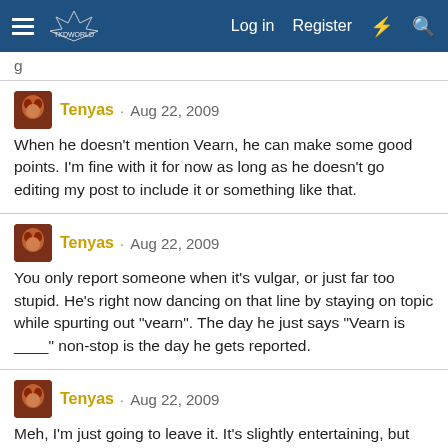Log in  Register
g
Tenyas · Aug 22, 2009
When he doesn't mention Vearn, he can make some good points. I'm fine with it for now as long as he doesn't go editing my post to include it or something like that.
Tenyas · Aug 22, 2009
You only report someone when it's vulgar, or just far too stupid. He's right now dancing on that line by staying on topic while spurting out "vearn". The day he just says "Vearn is ____" non-stop is the day he gets reported.
Tenyas · Aug 22, 2009
Meh, I'm just going to leave it. It's slightly entertaining, but that's balanced out with my anti-idiocy policy. If he keeps putting up tags though, I'm going to report it.